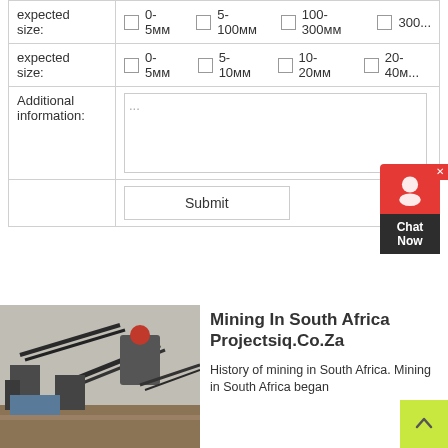| expected size: | ☐ 0-5мм   ☐ 5-100мм   ☐ 100-300мм   ☐ 300... |
| expected size: | ☐ 0-5мм   ☐ 5-10мм   ☐ 10-20мм   ☐ 20-40мм... |
| Additional information: | ... |
|  | Submit |
[Figure (photo): Mining facility with conveyor belts and machinery in South Africa]
Mining In South Africa Projectsiq.Co.Za
History of mining in South Africa. Mining in South Africa began